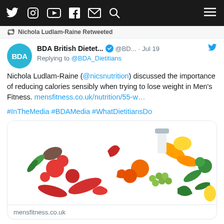BDA British Dietitians Twitter feed header with social icons
Nichola Ludlam-Raine Retweeted
BDA British Dietet... @BD... · Jul 19
Replying to @BDA_Dietitians
Nichola Ludlam-Raine (@nicsnutrition) discussed the importance of reducing calories sensibly when trying to lose weight in Men's Fitness. mensfitness.co.uk/nutrition/55-w…
#InTheMedia #BDAMedia #WhatDietitiansDo
[Figure (photo): Variety of fresh foods including fruits, vegetables, grains and dairy spread on a white background]
mensfitness.co.uk